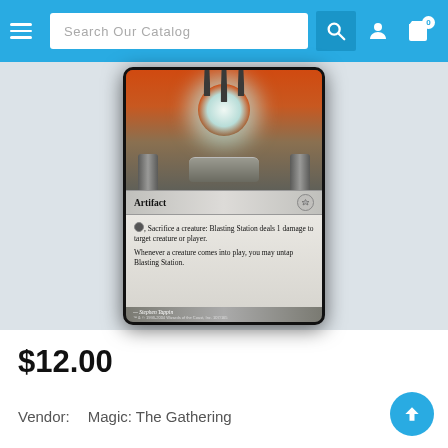Search Our Catalog
[Figure (photo): Magic: The Gathering card 'Blasting Station' - Artifact card showing a mechanical blasting device. Card text: tap, Sacrifice a creature: Blasting Station deals 1 damage to target creature or player. Whenever a creature comes into play, you may untap Blasting Station. Art by Stephen Tappin. TM & c 1993-2004 Wizards of the Coast, Inc. 107/165]
$12.00
Vendor:   Magic: The Gathering